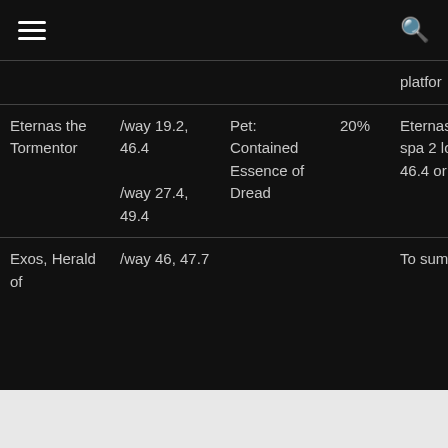☰  🔍
|  |  |  |  | platfor |
| --- | --- | --- | --- | --- |
| Eternas the Tormentor | /way 19.2, 46.4
/way 27.4, 49.4 | Pet: Contained Essence of Dread | 20% | Eternas Tormentor can spa 2 locati at /way 46.4 or /way 27 49.4 |
| Exos, Herald of | /way 46, 47.7 |  |  | To sum Exos, H |